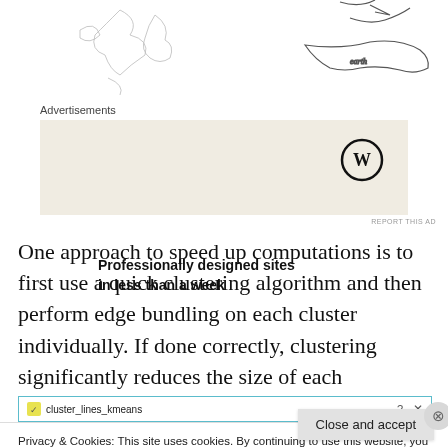[Figure (illustration): Partial map/sketch illustration at the top of the page, showing line-art geographic outlines and a bird/arrow motif on upper right]
Advertisements
[Figure (other): Advertisement box with beige background: 'Professionally designed sites in less than a week' with WordPress logo]
One approach to speed up computations is to first use a quick clustering algorithm and then perform edge bundling on each cluster individually. If done correctly, clustering significantly reduces the size of each compatibility matrix.
[Figure (screenshot): Code window title bar showing 'cluster_lines_kmeans' with teal border, partially visible]
Privacy & Cookies: This site uses cookies. By continuing to use this website, you agree to their use.
To find out more, including how to control cookies, see here: Our Cookie Policy